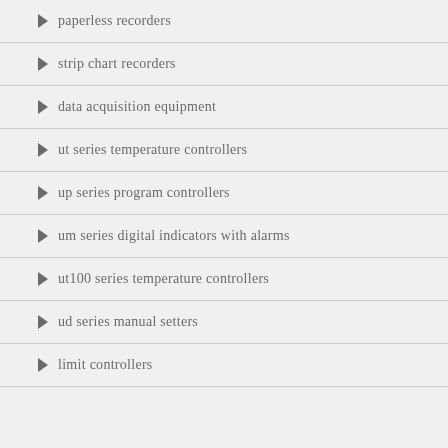paperless recorders
strip chart recorders
data acquisition equipment
ut series temperature controllers
up series program controllers
um series digital indicators with alarms
ut100 series temperature controllers
ud series manual setters
limit controllers